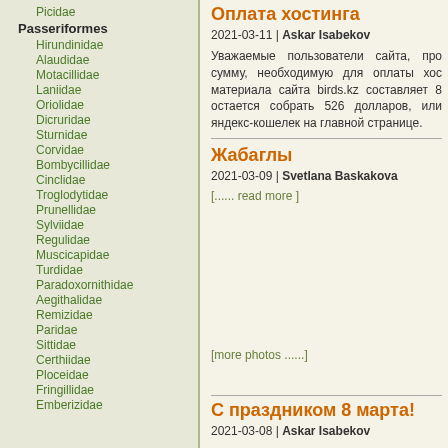Picidae
Passeriformes
Hirundinidae
Alaudidae
Motacillidae
Laniidae
Oriolidae
Dicruridae
Sturnidae
Corvidae
Bombycillidae
Cinclidae
Troglodytidae
Prunellidae
Sylviidae
Regulidae
Muscicapidae
Turdidae
Paradoxornithidae
Aegithalidae
Remizidae
Paridae
Sittidae
Certhiidae
Ploceidae
Fringillidae
Emberizidae
Оплата хостинга
2021-03-11 | Askar Isabekov
Уважаемые пользователи сайта, про... сумму, необходимую для оплаты хос... материала сайта birds.kz составляет 8... остается собрать 526 долларов, или ... яндекс-кошелек на главной странице.
Жабаглы
2021-03-09 | Svetlana Baskakova
[...... read more ]
[more photos ......]
С праздником 8 марта!
2021-03-08 | Askar Isabekov